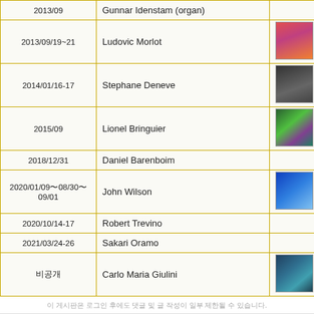| Date | Conductor | Image |
| --- | --- | --- |
| 2013/09 | Gunnar Idenstam (organ) |  |
| 2013/09/19~21 | Ludovic Morlot | [image] |
| 2014/01/16-17 | Stephane Deneve | [image] |
| 2015/09 | Lionel Bringuier | [image] |
| 2018/12/31 | Daniel Barenboim |  |
| 2020/01/09〜08/30〜09/01 | John Wilson | [image] |
| 2020/10/14-17 | Robert Trevino |  |
| 2021/03/24-26 | Sakari Oramo |  |
| 비공개 | Carlo Maria Giulini | [image] |
이 게시판은 로그인 후에도 댓글 및 글 작성이 일부 제한될 수 있습니다.
음악영화스코어 카페에 오신것을 환영합니다 함께 나눠요 음 나눌래요.
커뮤니티 | 카페홈 | 1:1 문의
커뮤니티 | 카페홈 | PC 버전